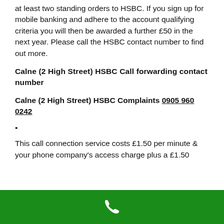at least two standing orders to HSBC. If you sign up for mobile banking and adhere to the account qualifying criteria you will then be awarded a further £50 in the next year. Please call the HSBC contact number to find out more.
Calne (2 High Street) HSBC Call forwarding contact number
Calne (2 High Street) HSBC Complaints 0905 960 0242
•
This call connection service costs £1.50 per minute & your phone company's access charge plus a £1.50
[Figure (other): Green footer bar with white telephone handset icon]